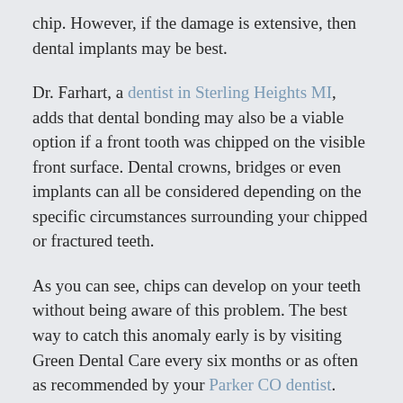chip. However, if the damage is extensive, then dental implants may be best.
Dr. Farhart, a dentist in Sterling Heights MI, adds that dental bonding may also be a viable option if a front tooth was chipped on the visible front surface. Dental crowns, bridges or even implants can all be considered depending on the specific circumstances surrounding your chipped or fractured teeth.
As you can see, chips can develop on your teeth without being aware of this problem. The best way to catch this anomaly early is by visiting Green Dental Care every six months or as often as recommended by your Parker CO dentist. Such regular visits will allow our professionals to examine your teeth and identify any chip or other defects. Many possible remedies exist, so you will have your beautiful and functional smile back once you put your